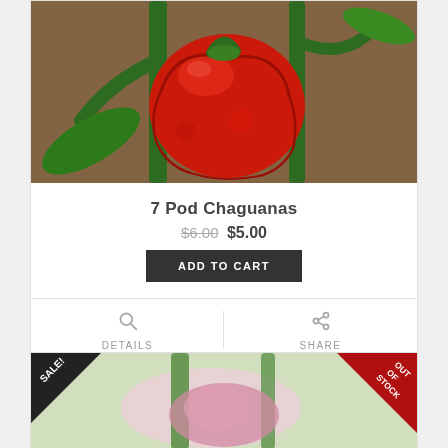[Figure (photo): Close-up photo of a red 7 Pod Chaguanas chili pepper on a green plant stem with blurred background]
7 Pod Chaguanas
$6.00 $5.00
ADD TO CART
DETAILS
SHARE
[Figure (photo): Photo of a pink/purple chili pepper on plant with SALE! badge on top-left and OUT OF STOCK badge on top-right]